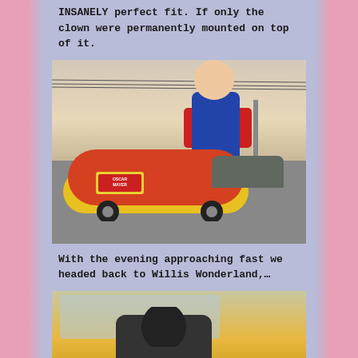INSANELY perfect fit. If only the clown were permanently mounted on top of it.
[Figure (photo): Photo of the Oscar Mayer Wienermobile parked in front of the Circus Liquor clown neon sign at dusk. The giant clown figure holding a Circus Liquor sign towers above the hot-dog-shaped vehicle.]
With the evening approaching fast we headed back to Willis Wonderland,…
[Figure (photo): Photo taken from inside the Wienermobile looking forward, showing a person's head silhouette, the yellow interior, and a partial view through the windshield.]